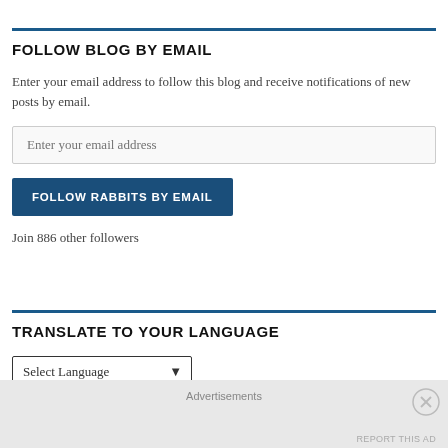FOLLOW BLOG BY EMAIL
Enter your email address to follow this blog and receive notifications of new posts by email.
[Figure (screenshot): Email input field with placeholder text 'Enter your email address']
[Figure (screenshot): Button with text 'FOLLOW RABBITS BY EMAIL' in dark blue]
Join 886 other followers
TRANSLATE TO YOUR LANGUAGE
[Figure (screenshot): Dropdown select box labeled 'Select Language' with dropdown arrow]
Advertisements